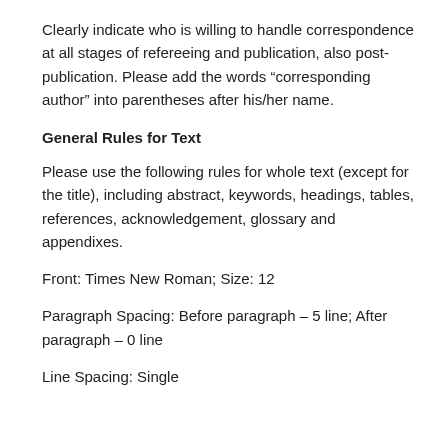Clearly indicate who is willing to handle correspondence at all stages of refereeing and publication, also post-publication. Please add the words “corresponding author” into parentheses after his/her name.
General Rules for Text
Please use the following rules for whole text (except for the title), including abstract, keywords, headings, tables, references, acknowledgement, glossary and appendixes.
Front: Times New Roman; Size: 12
Paragraph Spacing: Before paragraph – 5 line; After paragraph – 0 line
Line Spacing: Single